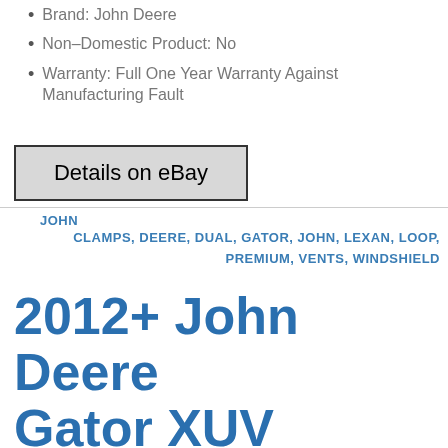Placement on Vehicle: Front
Brand: John Deere
Non-Domestic Product: No
Warranty: Full One Year Warranty Against Manufacturing Fault
[Figure (other): Details on eBay button]
JOHN
CLAMPS, DEERE, DUAL, GATOR, JOHN, LEXAN, LOOP, PREMIUM, VENTS, WINDSHIELD
2012+ John Deere Gator XUV 550/560/590i/590m Lexan Windshield with Loop Clamps